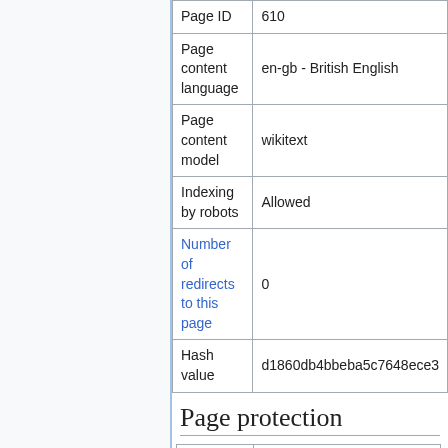|  |  |
| --- | --- |
| Page ID | 610 |
| Page content language | en-gb - British English |
| Page content model | wikitext |
| Indexing by robots | Allowed |
| Number of redirects to this page | 0 |
| Hash value | d1860db4bbeba5c7648ece3 |
Page protection
| Edit | Allow all users (infinite) |
| Move | Allow all users (infinite) |